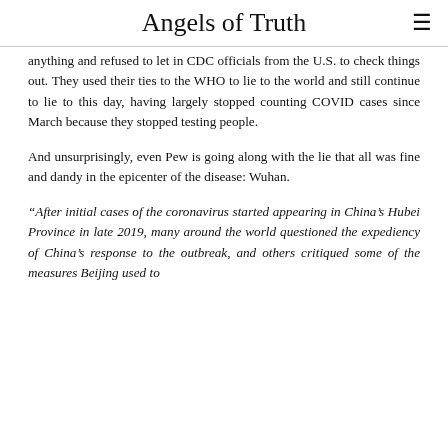Angels of Truth
anything and refused to let in CDC officials from the U.S. to check things out. They used their ties to the WHO to lie to the world and still continue to lie to this day, having largely stopped counting COVID cases since March because they stopped testing people.
And unsurprisingly, even Pew is going along with the lie that all was fine and dandy in the epicenter of the disease: Wuhan.
“After initial cases of the coronavirus started appearing in China’s Hubei Province in late 2019, many around the world questioned the expediency of China’s response to the outbreak, and others critiqued some of the measures Beijing used to